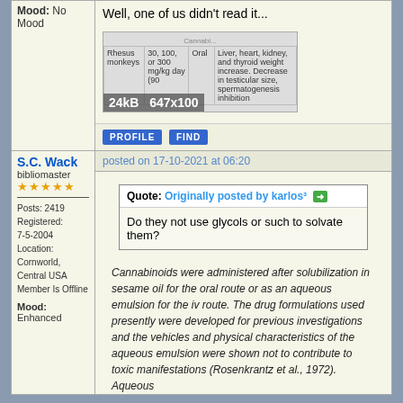Mood: No Mood
Well, one of us didn't read it...
[Figure (table-as-image): Partial table image showing Rhesus monkeys row with dosage and effects. Overlaid with 24kB 647x100 label.]
PROFILE   FIND
S.C. Wack
bibliomaster
★★★★★
Posts: 2419
Registered: 7-5-2004
Location: Cornworld, Central USA
Member Is Offline
Mood: Enhanced
posted on 17-10-2021 at 06:20
Quote: Originally posted by karlos³ →
Do they not use glycols or such to solvate them?
Cannabinoids were administered after solubilization in sesame oil for the oral route or as an aqueous emulsion for the iv route. The drug formulations used presently were developed for previous investigations and the vehicles and physical characteristics of the aqueous emulsion were shown not to contribute to toxic manifestations (Rosenkrantz et al., 1972). Aqueous